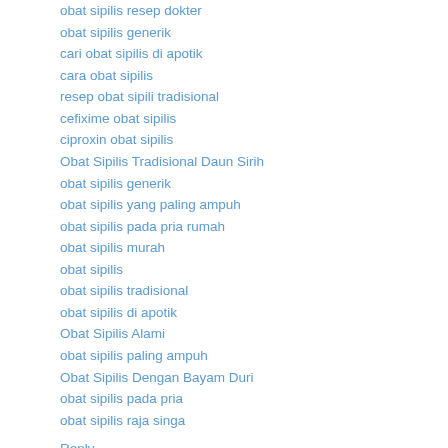obat sipilis resep dokter
obat sipilis generik
cari obat sipilis di apotik
cara obat sipilis
resep obat sipili tradisional
cefixime obat sipilis
ciproxin obat sipilis
Obat Sipilis Tradisional Daun Sirih
obat sipilis generik
obat sipilis yang paling ampuh
obat sipilis pada pria rumah
obat sipilis murah
obat sipilis
obat sipilis tradisional
obat sipilis di apotik
Obat Sipilis Alami
obat sipilis paling ampuh
Obat Sipilis Dengan Bayam Duri
obat sipilis pada pria
obat sipilis raja singa
Reply